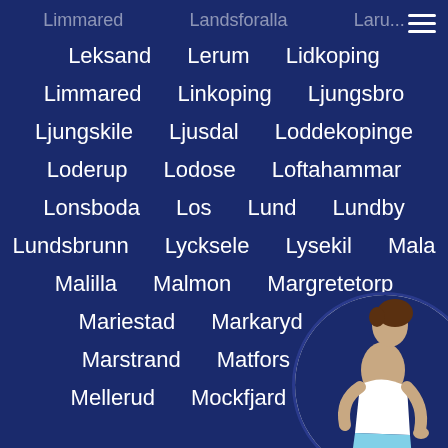Leksand   Lerum   Lidkoping
Limmared   Linkoping   Ljungsbro
Ljungskile   Ljusdal   Loddekopinge
Loderup   Lodose   Loftahammar
Lonsboda   Los   Lund   Lundby
Lundsbrunn   Lycksele   Lysekil   Mala
Malilla   Malmon   Margretetorp
Mariestad   Markaryd   Ma...
Marstrand   Matfors   Mell...
Mellerud   Mockfjard   Mohe...
[Figure (photo): Circular photo overlay in bottom-right corner showing a woman in white athletic wear posing sideways]